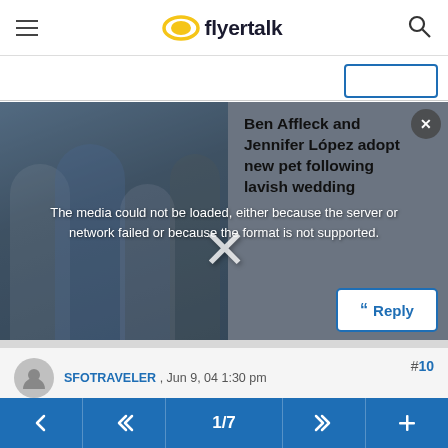flyertalk
[Figure (screenshot): Media player overlay showing error message 'The media could not be loaded, either because the server or network failed or because the format is not supported.' with a partial photo of people in background and ad text 'Ben Affleck and Jennifer Lopez adopt new pet following lavish wedding' on the right side. An X close button is in the center.]
A valuable ITA Software enhancement that should be easy to add since the information is already present:
Navigation bar: back, <<, 1/7, >>, +